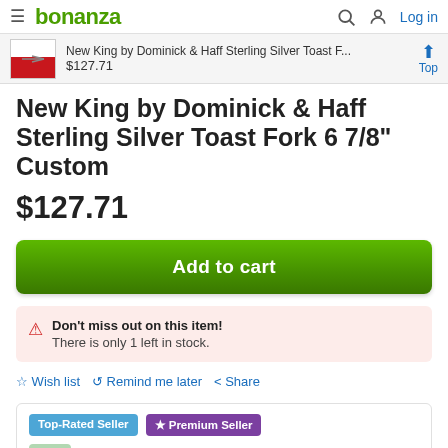bonanza — Log in
[Figure (screenshot): Sticky product bar showing thumbnail of toast fork, title 'New King by Dominick & Haff Sterling Silver Toast F...', price '$127.71', and Top button]
New King by Dominick & Haff Sterling Silver Toast Fork 6 7/8" Custom
$127.71
Add to cart
Don't miss out on this item! There is only 1 left in stock.
☆ Wish list  ↩ Remind me later  < Share
Top-Rated Seller  ★ Premium Seller
antiquecupboard's booth